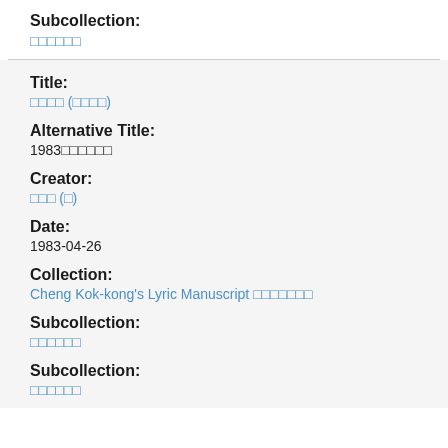Subcollection:
□□□□□□
Title:
□□□□ (□□□□)
Alternative Title:
1983□□□□□□
Creator:
□□□ (□)
Date:
1983-04-26
Collection:
Cheng Kok-kong's Lyric Manuscript □□□□□□□
Subcollection:
□□□□□□
Subcollection:
□□□□□□